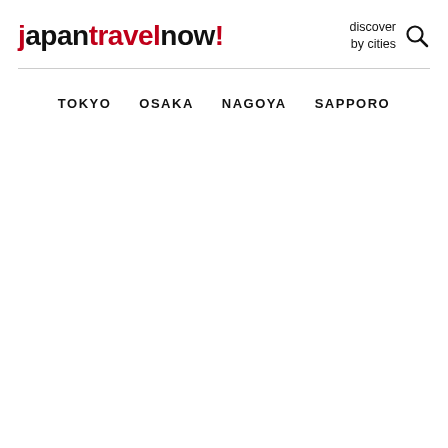japantravelnow!
discover by cities
TOKYO  OSAKA  NAGOYA  SAPPORO